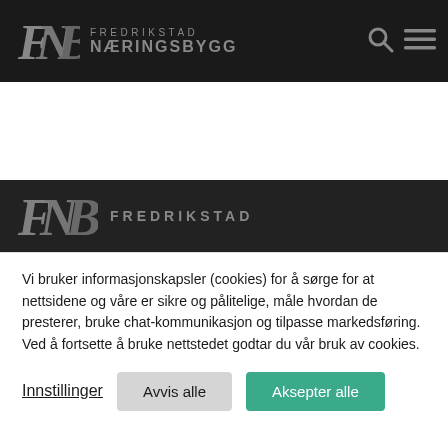[Figure (logo): Fredrikstad Næringsbygg logo in dark navigation bar with FNB monogram and company name, plus search and hamburger menu icons]
[Figure (screenshot): White area representing website content area (blank)]
[Figure (logo): Partial Fredrikstad Næringsbygg logo visible in dark section at bottom]
Vi bruker informasjonskapsler (cookies) for å sørge for at nettsidene og våre er sikre og pålitelige, måle hvordan de presterer, bruke chat-kommunikasjon og tilpasse markedsføring. Ved å fortsette å bruke nettstedet godtar du vår bruk av cookies.
Innstillinger
Avvis alle
Aksepter alle